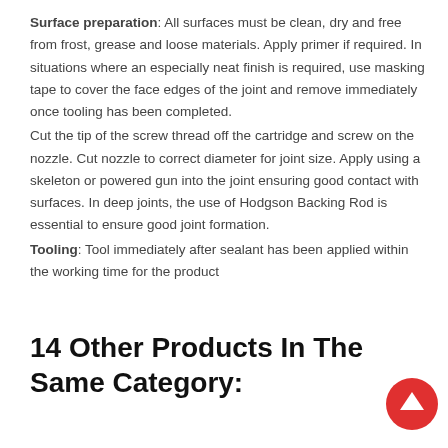Surface preparation: All surfaces must be clean, dry and free from frost, grease and loose materials. Apply primer if required. In situations where an especially neat finish is required, use masking tape to cover the face edges of the joint and remove immediately once tooling has been completed. Cut the tip of the screw thread off the cartridge and screw on the nozzle. Cut nozzle to correct diameter for joint size. Apply using a skeleton or powered gun into the joint ensuring good contact with surfaces. In deep joints, the use of Hodgson Backing Rod is essential to ensure good joint formation. Tooling: Tool immediately after sealant has been applied within the working time for the product
14 Other Products In The Same Category: